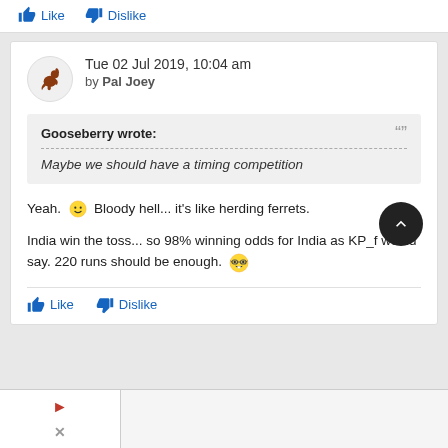Like   Dislike
Tue 02 Jul 2019, 10:04 am by Pal Joey
Gooseberry wrote:
Maybe we should have a timing competition
Yeah. 🙂 Bloody hell... it's like herding ferrets.

India win the toss... so 98% winning odds for India as KP_f would say. 220 runs should be enough. 🤓
Like   Dislike